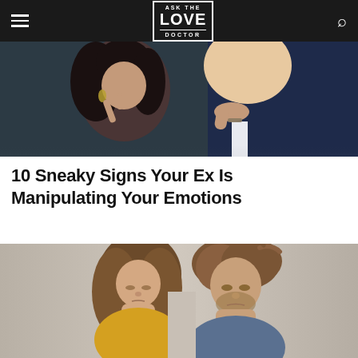ASK THE LOVE DOCTOR
[Figure (photo): A woman holding her finger to her lips in a 'shh' gesture, leaning close to a man's neck, suggesting secrecy or manipulation. Dark, moody tones.]
10 Sneaky Signs Your Ex Is Manipulating Your Emotions
[Figure (photo): A man and woman standing back to back, both looking downward with sullen expressions, suggesting a breakup or relationship conflict.]